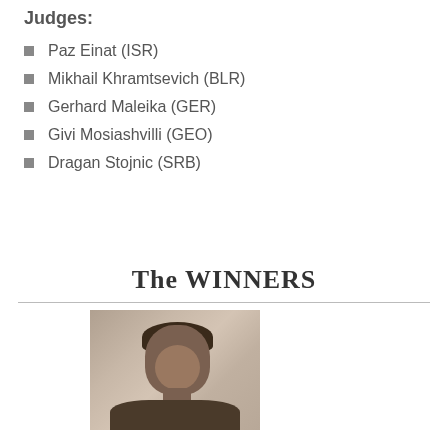Judges:
Paz Einat (ISR)
Mikhail Khramtsevich (BLR)
Gerhard Maleika (GER)
Givi Mosiashvilli (GEO)
Dragan Stojnic (SRB)
The WINNERS
[Figure (photo): Photo of a man with dark hair, facing slightly to the right, wearing dark clothing, photographed indoors]